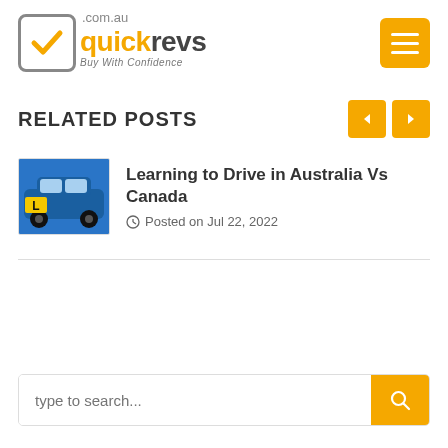[Figure (logo): Quickrevs.com.au logo with orange checkmark and tagline 'Buy With Confidence']
RELATED POSTS
[Figure (photo): Thumbnail image of a blue car with yellow L plate]
Learning to Drive in Australia Vs Canada
Posted on Jul 22, 2022